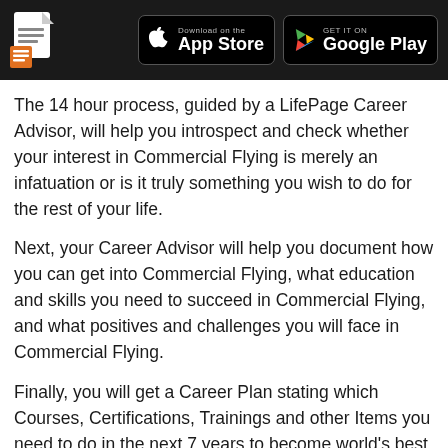LifePage app header with App Store and Google Play download buttons
The 14 hour process, guided by a LifePage Career Advisor, will help you introspect and check whether your interest in Commercial Flying is merely an infatuation or is it truly something you wish to do for the rest of your life.
Next, your Career Advisor will help you document how you can get into Commercial Flying, what education and skills you need to succeed in Commercial Flying, and what positives and challenges you will face in Commercial Flying.
Finally, you will get a Career Plan stating which Courses, Certifications, Trainings and other Items you need to do in the next 7 years to become world's best in Commercial Flying.